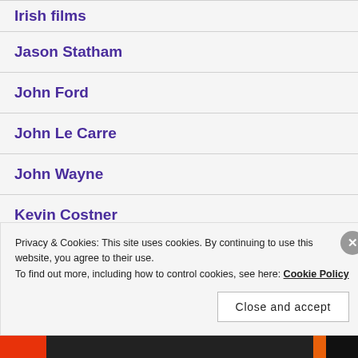Irish films
Jason Statham
John Ford
John Le Carre
John Wayne
Kevin Costner
Privacy & Cookies: This site uses cookies. By continuing to use this website, you agree to their use.
To find out more, including how to control cookies, see here: Cookie Policy
Close and accept